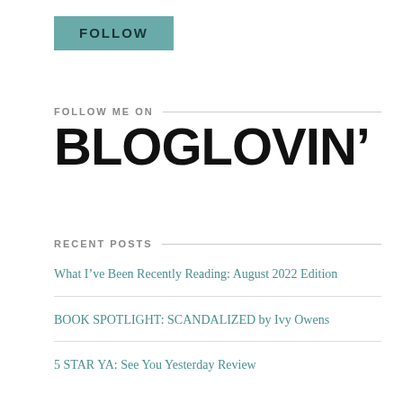[Figure (logo): Teal/green rectangular button with the word FOLLOW in bold dark teal uppercase letters]
FOLLOW ME ON
BLOGLOVIN'
RECENT POSTS
What I've Been Recently Reading: August 2022 Edition
BOOK SPOTLIGHT: SCANDALIZED by Ivy Owens
5 STAR YA: See You Yesterday Review